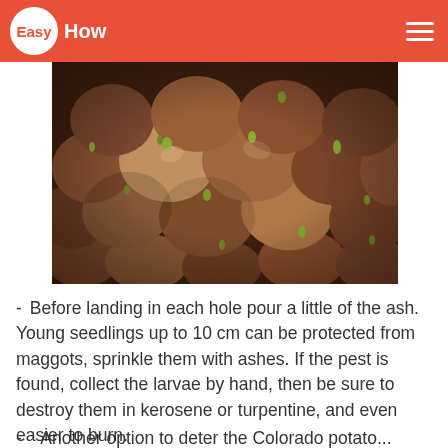Easy How
[Figure (photo): Close-up photograph of many small red/brown potatoes with green sprouts, clustered together filling the entire frame.]
Before landing in each hole pour a little of the ash. Young seedlings up to 10 cm can be protected from maggots, sprinkle them with ashes. If the pest is found, collect the larvae by hand, then be sure to destroy them in kerosene or turpentine, and even easier to burn.
Another option to deter the Colorado potato...